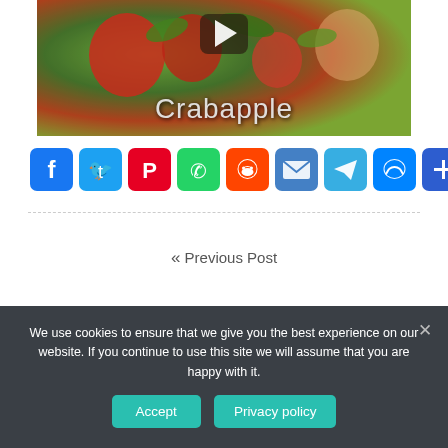[Figure (screenshot): Video thumbnail showing crabapple tree with fruits and bees, with play button and title 'Crabapple']
[Figure (infographic): Row of social share buttons: Facebook, Twitter, Pinterest, WhatsApp, Reddit, Email, Telegram, Messenger, Share (plus)]
Previous Post
We use cookies to ensure that we give you the best experience on our website. If you continue to use this site we will assume that you are happy with it.